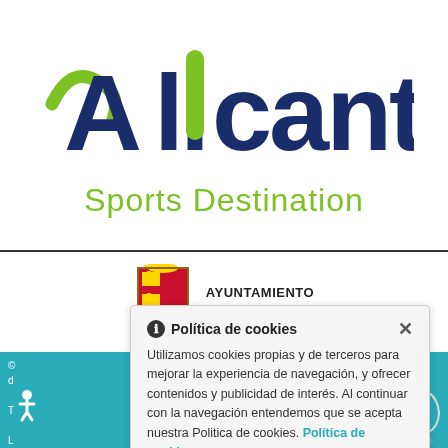[Figure (logo): Alicante Sports Destination logo with green swoosh and dark blue text]
[Figure (logo): Ayuntamiento de Alicante coat of arms emblem]
AYUNTAMIENTO DE ALICANTE
Política de cookies
Utilizamos cookies propias y de terceros para mejorar la experiencia de navegación, y ofrecer contenidos y publicidad de interés. Al continuar con la navegación entendemos que se acepta nuestra Politica de cookies. Política de cookies .